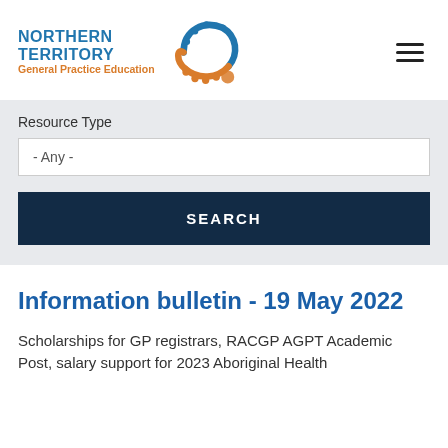[Figure (logo): Northern Territory General Practice Education logo with blue text and orange/blue circular icon]
Resource Type
- Any -
SEARCH
Information bulletin - 19 May 2022
Scholarships for GP registrars, RACGP AGPT Academic Post, salary support for 2023 Aboriginal Health